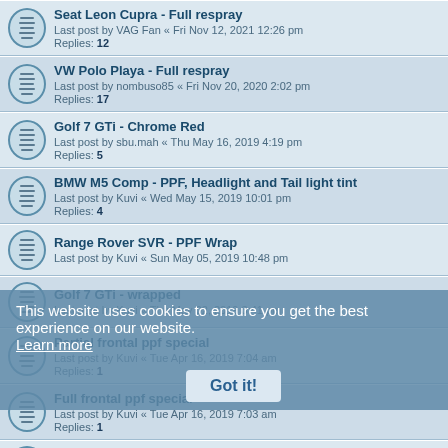Seat Leon Cupra - Full respray
Last post by VAG Fan « Fri Nov 12, 2021 12:26 pm
Replies: 12
VW Polo Playa - Full respray
Last post by nombuso85 « Fri Nov 20, 2020 2:02 pm
Replies: 17
Golf 7 GTi - Chrome Red
Last post by sbu.mah « Thu May 16, 2019 4:19 pm
Replies: 5
BMW M5 Comp - PPF, Headlight and Tail light tint
Last post by Kuvi « Wed May 15, 2019 10:01 pm
Replies: 4
Range Rover SVR - PPF Wrap
Last post by Kuvi « Sun May 05, 2019 10:48 pm
Golf 7 GTi - wrapped
Last post by Kuvi « Thu May 02, 2019 3:41 pm
Partial frontal ppf special
Last post by Kuvi « Tue Apr 16, 2019 7:04 am
Replies: 1
Full frontal ppf special
Last post by Kuvi « Tue Apr 16, 2019 7:03 am
Replies: 1
Land Cruiser VX200 PPF
Last post by Kuvi « Mon Apr 15, 2019 10:19 pm
Audi R8 V10 Side Blades wrapped
This website uses cookies to ensure you get the best experience on our website. Learn more
Got it!